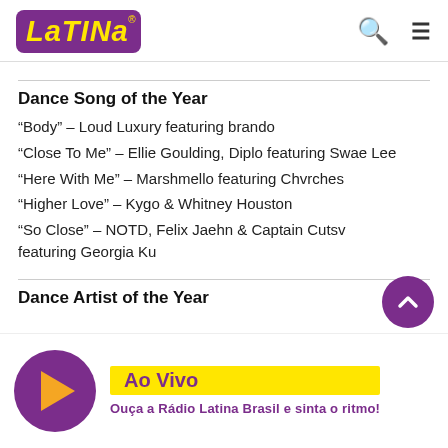[Figure (logo): Latina radio logo — purple rounded rectangle with yellow italic bold text 'LaTiNa']
Dance Song of the Year
“Body” – Loud Luxury featuring brando
“Close To Me” – Ellie Goulding, Diplo featuring Swae Lee
“Here With Me” – Marshmello featuring Chvrches
“Higher Love” – Kygo & Whitney Houston
“So Close” – NOTD, Felix Jaehn & Captain Cutsv featuring Georgia Ku
Dance Artist of the Year
Ao Vivo — Ouça a Rádio Latina Brasil e sinta o ritmo!